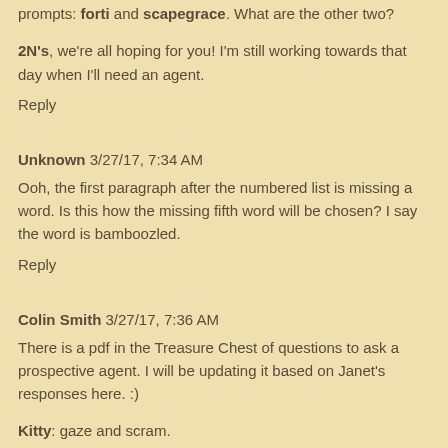prompts: forti and scapegrace. What are the other two?
2N's, we're all hoping for you! I'm still working towards that day when I'll need an agent.
Reply
Unknown 3/27/17, 7:34 AM
Ooh, the first paragraph after the numbered list is missing a word. Is this how the missing fifth word will be chosen? I say the word is bamboozled.
Reply
Colin Smith 3/27/17, 7:36 AM
There is a pdf in the Treasure Chest of questions to ask a prospective agent. I will be updating it based on Janet's responses here. :)
Kitty: gaze and scram.
Reply